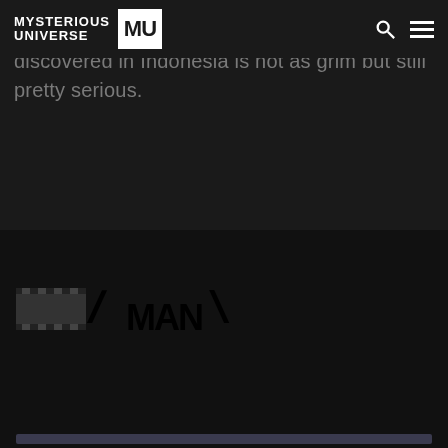MYSTERIOUS UNIVERSE MU
that the story of a real sleeping beauty discovered in Indonesia is not as grim but still pretty serious.
[Figure (screenshot): Dark video player area with a stylized video logo/watermark in the lower left, and a progress bar at the bottom]